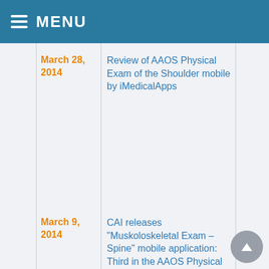MENU
March 28, 2014 — Review of AAOS Physical Exam of the Shoulder mobile by iMedicalApps
March 9, 2014 — CAI releases "Muskoloskeletal Exam – Spine" mobile application: Third in the AAOS Physical Examination series of apps
February 1, 2014 — AAOS and CAI